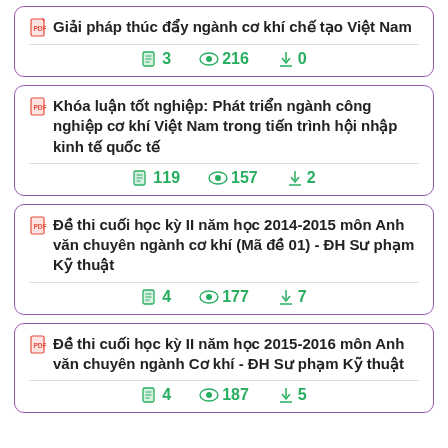Giải pháp thúc đẩy ngành cơ khí chế tạo Việt Nam | pages: 3 | views: 216 | downloads: 0
Khóa luận tốt nghiệp: Phát triển ngành công nghiệp cơ khí Việt Nam trong tiến trình hội nhập kinh tế quốc tế | pages: 119 | views: 157 | downloads: 2
Đề thi cuối học kỳ II năm học 2014-2015 môn Anh văn chuyên ngành cơ khí (Mã đề 01) - ĐH Sư phạm Kỹ thuật | pages: 4 | views: 177 | downloads: 7
Đề thi cuối học kỳ II năm học 2015-2016 môn Anh văn chuyên ngành Cơ khí - ĐH Sư phạm Kỹ thuật | pages: 4 | views: 187 | downloads: 5